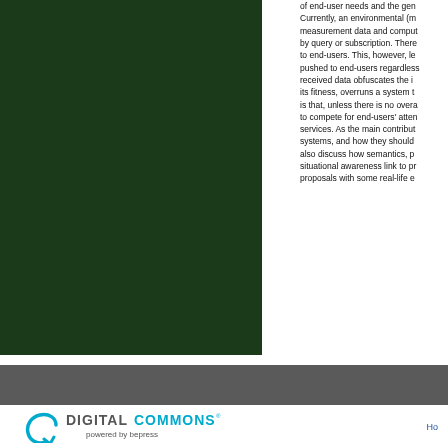[Figure (photo): Dark green image panel on the left side of the page]
of end-user needs and the ge... Currently, an environmental (m... measurement data and compu... by query or subscription. There... to end-users. This, however, le... pushed to end-users regardless... received data obfuscates the i... its fitness, overruns a system t... is that, unless there is no overa... to compete for end-users' atte... services. As the main contribut... systems, and how they should... also discuss how semantics, p... situational awareness link to pr... proposals with some real-life e...
Ho...